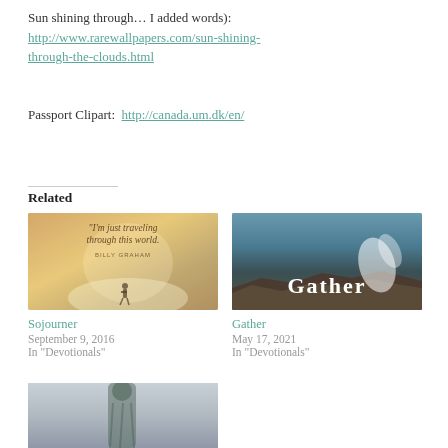Sun shining through… I added words): http://www.rarewallpapers.com/sun-shining-through-the-clouds.html
Passport Clipart:  http://canada.um.dk/en/
Related
[Figure (photo): Image for 'Sojourner' post — person walking through misty forest with quote 'I'm just traveling through this world. - Billy Graham']
Sojourner
September 9, 2016
In "Devotionals"
[Figure (photo): Image for 'Gather' post — ocean waves crashing on rocky shore with text 'Gather']
Gather
May 17, 2021
In "Devotionals"
[Figure (photo): Image of a statue (partial, bottom of page)]